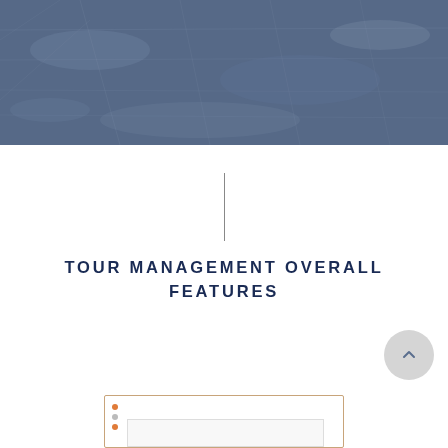[Figure (photo): Full-width hero banner image showing a muted aerial or surface view with a blue-gray overlay, suggesting a map or landscape texture.]
TOUR MANAGEMENT OVERALL FEATURES
[Figure (screenshot): Partial screenshot of a table or UI panel with orange and gray dots on the left side and an inner bordered box, visible at the bottom of the page.]